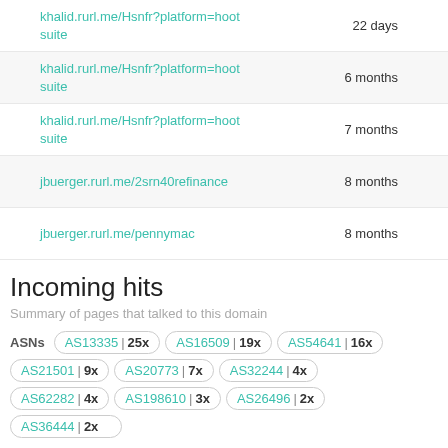|  | URL | Age | Country |
| --- | --- | --- | --- |
| lock | khalid.rurl.me/Hsnfr?platform=hootsuite | 22 days | US |
| lock | khalid.rurl.me/Hsnfr?platform=hootsuite | 6 months | US |
| lock | khalid.rurl.me/Hsnfr?platform=hootsuite | 7 months | US |
| lock | jbuerger.rurl.me/2srn40refinance | 8 months | US |
| lock | jbuerger.rurl.me/pennymac | 8 months | US |
Incoming hits
Summary of pages that talked to this domain
ASNs  AS13335 | 25x  AS16509 | 19x  AS54641 | 16x  AS21501 | 9x  AS20773 | 7x  AS32244 | 4x  AS62282 | 4x  AS198610 | 3x  AS26496 | 2x  AS36444 | 2x